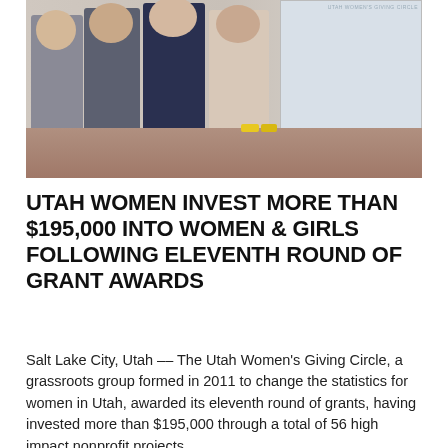[Figure (photo): Group photo of four women standing against a wall near a projection screen in a conference or meeting room setting, with a patterned carpet visible on the floor.]
UTAH WOMEN INVEST MORE THAN $195,000 INTO WOMEN & GIRLS FOLLOWING ELEVENTH ROUND OF GRANT AWARDS
Salt Lake City, Utah -- The Utah Women's Giving Circle, a grassroots group formed in 2011 to change the statistics for women in Utah, awarded its eleventh round of grants, having invested more than $195,000 through a total of 56 high impact nonprofit projects.